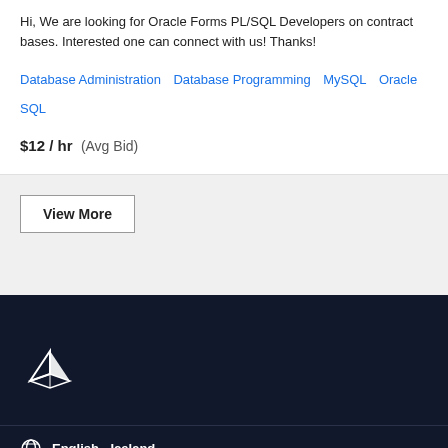Hi, We are looking for Oracle Forms PL/SQL Developers on contract bases. Interested one can connect with us! Thanks!
Database Administration   Database Programming   MySQL   Oracle   SQL
$12 / hr  (Avg Bid)
View More
[Figure (logo): Freelancer bird logo in white on dark navy background]
English - Iceland